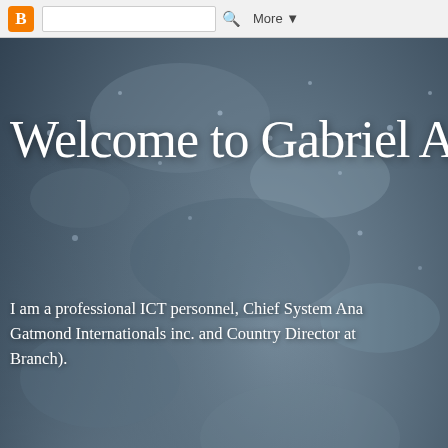Blogger navigation bar with search and More button
Welcome to Gabriel A
I am a professional ICT personnel, Chief System Ana... Gatmond Internationals inc. and Country Director at ... Branch).
Friday, 22 September 2017
Customs seizes another 470 rifles imported from Turkey
[Figure (photo): Outdoor photo showing uniformed officers standing near a building with a red car]